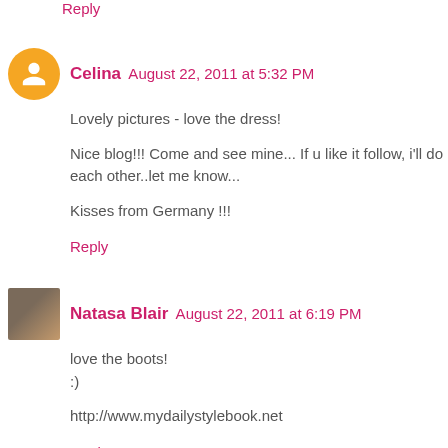Reply
Celina  August 22, 2011 at 5:32 PM
Lovely pictures - love the dress!

Nice blog!!! Come and see mine... If u like it follow, i'll do each other..let me know...

Kisses from Germany !!!
Reply
Natasa Blair  August 22, 2011 at 6:19 PM
love the boots!
:)

http://www.mydailystylebook.net
Reply